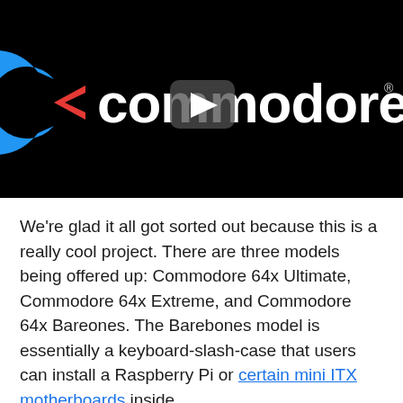[Figure (screenshot): Commodore brand logo on black background with a video play button overlay. The logo shows a stylized C with red and blue colors followed by 'commodore' text in white with registered trademark symbol.]
We're glad it all got sorted out because this is a really cool project. There are three models being offered up: Commodore 64x Ultimate, Commodore 64x Extreme, and Commodore 64x Bareones. The Barebones model is essentially a keyboard-slash-case that users can install a Raspberry Pi or certain mini ITX motherboards inside.
The Extreme model ups the ante with an Intel Celeron J1410, an extra 4GB of RAM, and 250GB M.2 SSD and it